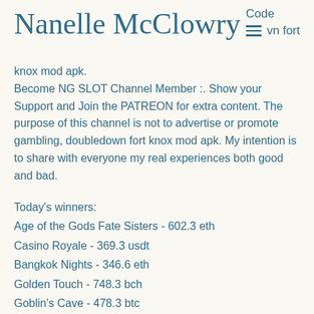Nanelle McClowry
knox mod apk. Become NG SLOT Channel Member :. Show your Support and Join the PATREON for extra content. The purpose of this channel is not to advertise or promote gambling, doubledown fort knox mod apk. My intention is to share with everyone my real experiences both good and bad.
Today's winners:
Age of the Gods Fate Sisters - 602.3 eth
Casino Royale - 369.3 usdt
Bangkok Nights - 346.6 eth
Golden Touch - 748.3 bch
Goblin's Cave - 478.3 btc
Ace Ventura - 95.5 btc
Happy Holidays - 306.4 usdt
Wheel of Cash - 5.2 ltc
Fortune Dice - 197.7 ltc
Moonrise - 339.3 ltc